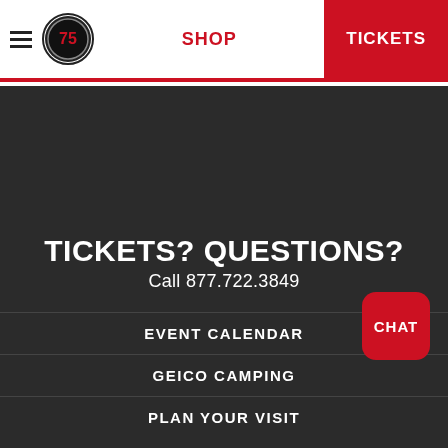SHOP  TICKETS
TICKETS? QUESTIONS?
Call 877.722.3849
EVENT CALENDAR
GEICO CAMPING
PLAN YOUR VISIT